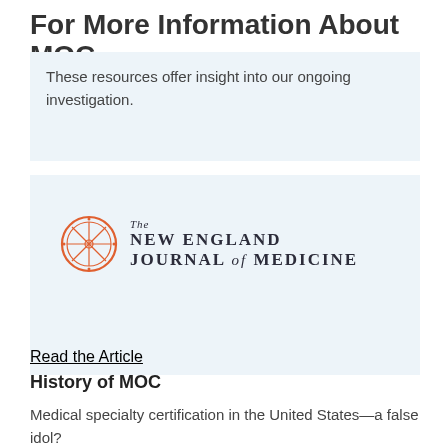For More Information About MOC
These resources offer insight into our ongoing investigation.
[Figure (logo): The New England Journal of Medicine logo with orange circular seal on the left and styled text on the right]
Read the Article
History of MOC
Medical specialty certification in the United States—a false idol?